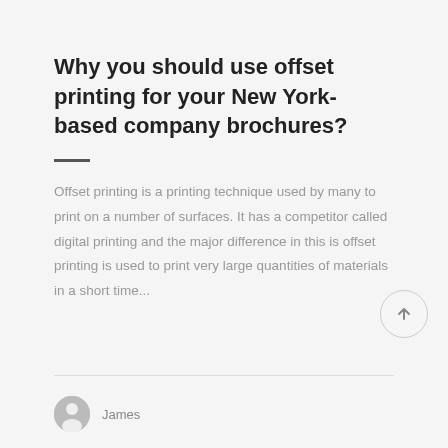Why you should use offset printing for your New York-based company brochures?
Offset printing is a printing technique used by many to print on a number of surfaces. It has a competitor called digital printing and the major difference in this is offset printing is used to print very large quantities of materials in a short time...
James